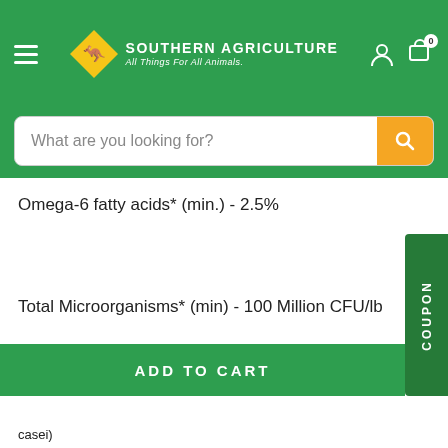[Figure (logo): Southern Agriculture logo with kangaroo in yellow diamond, white text 'Southern Agriculture - All Things For All Animals']
What are you looking for?
Omega-6 fatty acids* (min.) - 2.5%
Total Microorganisms* (min) - 100 Million CFU/lb
ADD TO CART
casei)